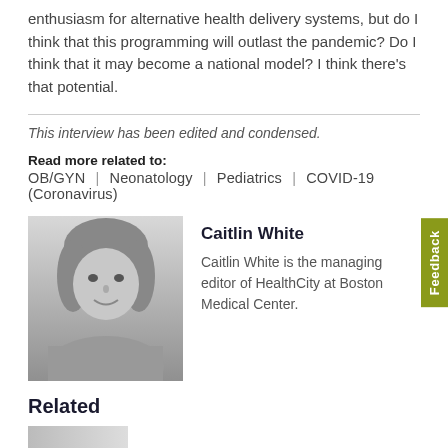enthusiasm for alternative health delivery systems, but do I think that this programming will outlast the pandemic? Do I think that it may become a national model? I think there's that potential.
This interview has been edited and condensed.
Read more related to:
OB/GYN  |  Neonatology  |  Pediatrics  |  COVID-19 (Coronavirus)
[Figure (photo): Black and white headshot photo of Caitlin White, smiling, with curly hair.]
Caitlin White
Caitlin White is the managing editor of HealthCity at Boston Medical Center.
Related
RESEARCH